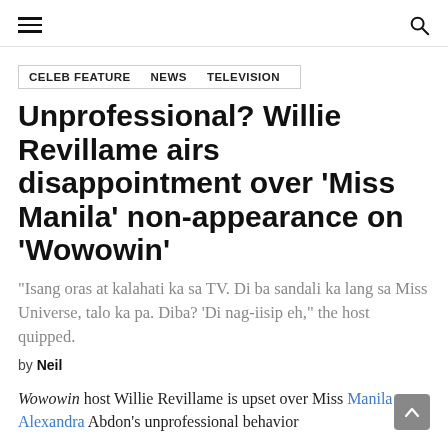hamburger menu | search icon
CELEB FEATURE   NEWS   TELEVISION
Unprofessional? Willie Revillame airs disappointment over 'Miss Manila' non-appearance on 'Wowowin'
“Isang oras at kalahati ka sa TV. Di ba sandali ka lang sa Miss Universe, talo ka pa. Diba? ‘Di nag-iisip eh,” the host quipped.
by Neil
Wowowin host Willie Revillame is upset over Miss Manila Alexandra Abdon’s unprofessional behavior